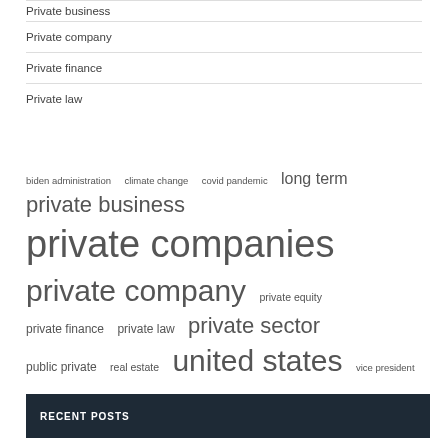Private business
Private company
Private finance
Private law
[Figure (infographic): Tag cloud with tags: biden administration, climate change, covid pandemic, long term, private business, private companies, private company, private equity, private finance, private law, private sector, public private, real estate, united states, vice president — sized by frequency]
RECENT POSTS